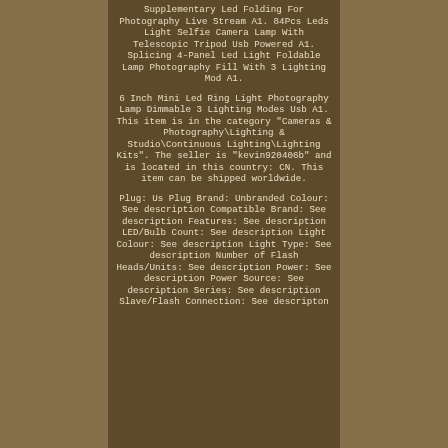Supplementary Led Folding For Photography Live Stream A1. 84Pcs Leds Light Selfie Camera Lamp With Telescopic Tripod Usb Powered A1. Splicing 4-Panel Led Light Foldable Lamp Photography Fill With 3 Lighting Mod A1.
6 Inch Mini Led Ring Light Photography Lamp Dimmable 3 Lighting Modes Usb A1. This item is in the category "Cameras & Photography\Lighting & Studio\Continuous Lighting\Lighting Kits". The seller is "kevin920406b" and is located in this country: CN. This item can be shipped worldwide.
Plug: Us Plug Brand: Unbranded Colour: See description Compatible Brand: See description Features: See description LED/Bulb Count: See description Light Colour: See description Light Type: See description Number of Flash Heads/Units: See description Power: See description Power Source: See description Series: See description Slave/Flash Connection: See description